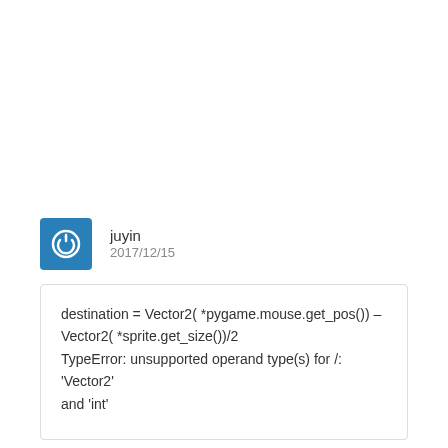juyin
2017/12/15
destination = Vector2( *pygame.mouse.get_pos()) – Vector2( *sprite.get_size())/2
TypeError: unsupported operand type(s) for /: 'Vector2' and 'int'
Reply ↓